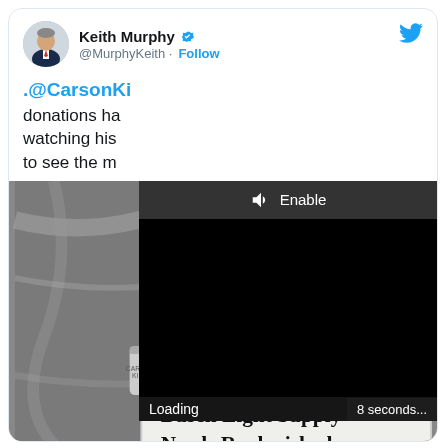[Figure (screenshot): Screenshot of a tweet by Keith Murphy (@MurphyKeith) with verified badge and Follow button. Tweet text begins '.@CarsonKi... donations ha... watching his... to see the m...'. A video overlay with Enable audio button and Loading/8 seconds... indicators overlaps the right portion. Below is a photo of a man in a red jacket holding a Busch Light beer can and a hand-written sign reading 'Busch Light Supply Needs Replenished'.]